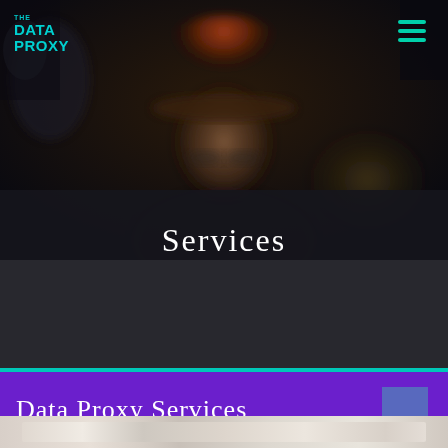[Figure (photo): Blurred photo of a person wearing an orange/brown knit hat against a dark background, used as a hero/header image for a website]
Services
Data Proxy Services